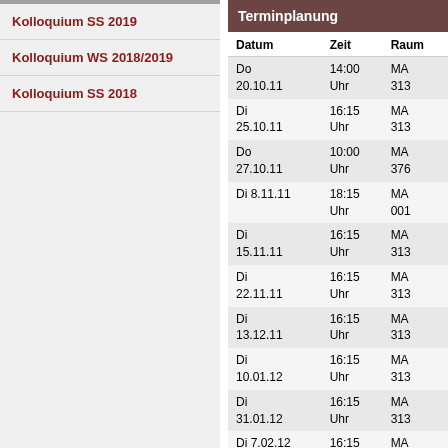Kolloquium SS 2019
Kolloquium WS 2018/2019
Kolloquium SS 2018
| Datum | Zeit | Raum |
| --- | --- | --- |
| Do
20.10.11 | 14:00
Uhr | MA
313 |
| Di
25.10.11 | 16:15
Uhr | MA
313 |
| Do
27.10.11 | 10:00
Uhr | MA
376 |
| Di 8.11.11 | 18:15
Uhr | MA
001 |
| Di
15.11.11 | 16:15
Uhr | MA
313 |
| Di
22.11.11 | 16:15
Uhr | MA
313 |
| Di
13.12.11 | 16:15
Uhr | MA
313 |
| Di
10.01.12 | 16:15
Uhr | MA
313 |
| Di
31.01.12 | 16:15
Uhr | MA
313 |
| Di 7.02.12 | 16:15
Uhr | MA
313 |
| Di
27.03.12 | 16:15
Uhr | MA
313 |